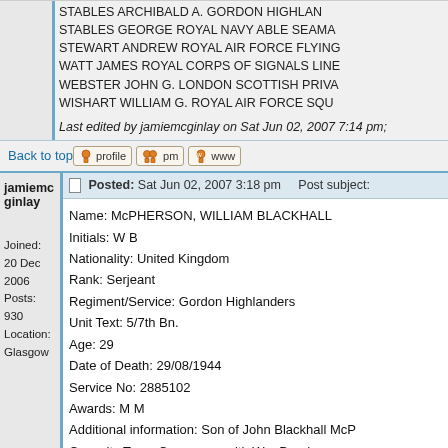STABLES ARCHIBALD A. GORDON HIGHLAN... STABLES GEORGE ROYAL NAVY ABLE SEAMA... STEWART ANDREW ROYAL AIR FORCE FLYING... WATT JAMES ROYAL CORPS OF SIGNALS LINE... WEBSTER JOHN G. LONDON SCOTTISH PRIVA... WISHART WILLIAM G. ROYAL AIR FORCE SQU...
Last edited by jamiemcginlay on Sat Jun 02, 2007 7:14 pm;
Back to top
jamiemcginlay
Joined: 20 Dec 2006
Posts: 930
Location: Glasgow
Posted: Sat Jun 02, 2007 3:18 pm    Post subject:
Name: McPHERSON, WILLIAM BLACKHALL
Initials: W B
Nationality: United Kingdom
Rank: Serjeant
Regiment/Service: Gordon Highlanders
Unit Text: 5/7th Bn.
Age: 29
Date of Death: 29/08/1944
Service No: 2885102
Awards: M M
Additional information: Son of John Blackhall McP...
Casualty Type: Commonwealth War Dead
Grave/Memorial Reference: II. A. 8.
Cemetery: ST. DESIR WAR CEMETERY